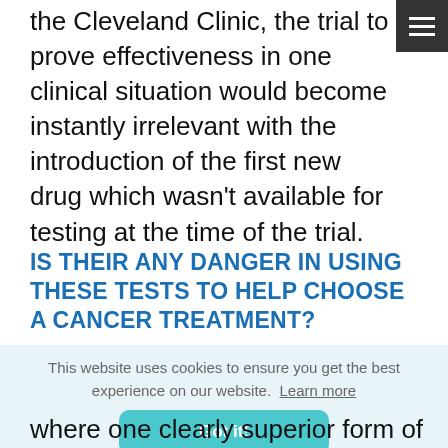the Cleveland Clinic, the trial to prove effectiveness in one clinical situation would become instantly irrelevant with the introduction of the first new drug which wasn't available for testing at the time of the trial.
IS THEIR ANY DANGER IN USING THESE TESTS TO HELP CHOOSE A CANCER TREATMENT?
ere
e
[Figure (other): Cookie consent banner with text 'This website uses cookies to ensure you get the best experience on our website. Learn more' and a 'Got it!' button in teal/cyan color.]
where one clearly superior form of